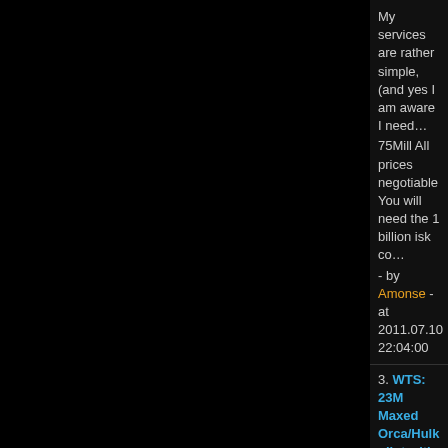My services are rather simple, (and yes I am aware I need... 75Mill All prices negotiable You will need the 1 billion isk co... - by Amonse - at 2011.07.10 22:04:00
3. WTS: 23M Maxed Orca/Hulk pilot with freighterskills - Edited by: Amonse on 14/01/2011 21:57:46 please refund th... circumstances. Others question if it is right at all. - by Amonse - at 2011.01.14 21:54:00
4. Quantum Star Alliance - in Alliance and Corporation Re... -Bump- Lets go QSA lets go! All the way to the top! Betray... - by Amonse - at 2010.07.28 15:52:00
5. 6NJ "fun" - in Corporation, Alliance and Organization Di... Wow i dont log in for a few hours and all of this happens. G... question if it is right at all. - by Amonse - at 2010.06.16 21:49:00
6. Shock, RAZOR's best Corporation, Roving Guns now... Betrayal. Some say its right under certain circumstances. O... - by Amonse - at 2010.05.23 00:38:00
7. The Tragic Fate of [REMAI] - in Corporation, Alliance ar... Well my friend told me to share my story with the eve unive... present Tyranny Disguised It all started when I stuck Remai... - by Amonse - at 2010.05.23 00:05:00
8. Respect My Authoritah! - in Crime and Punishment [ori... whats your SP? Life is like a lemon It burns when it gets in y... - by Amonse - at 2010.04.29 22:14:00
9. LTB mercenaries to waydec and kill a alliance - in Cri... This guy is really starting to get on my nerves...